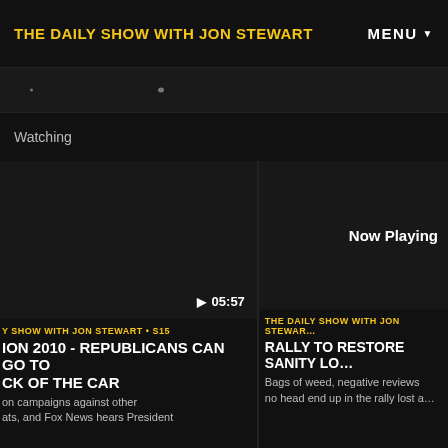THE DAILY SHOW WITH JON STEWART
MENU
Watching
[Figure (screenshot): Dark video thumbnail for left card with play button and timestamp 05:57]
THE DAILY SHOW WITH JON STEWART • S15
ELECTION 2010 - REPUBLICANS CAN GO TO THE BACK OF THE CAR
Obama campaigns against other Democrats, and Fox News hears President
[Figure (screenshot): Dark video thumbnail for right card with Now Playing label]
THE DAILY SHOW WITH JON STEWART
RALLY TO RESTORE SANITY LO…
Bags of weed, negative reviews no head end up in the rally lost a…